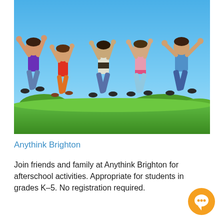[Figure (photo): Five children jumping joyfully in the air over a grassy field with a bright blue sky behind them. They are wearing colorful clothing: purple, red/orange, white/dark, pink, and blue shirts.]
Anythink Brighton
Join friends and family at Anythink Brighton for afterschool activities. Appropriate for students in grades K–5. No registration required.